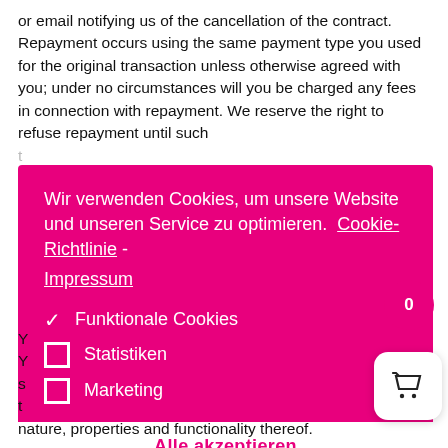or email notifying us of the cancellation of the contract. Repayment occurs using the same payment type you used for the original transaction unless otherwise agreed with you; under no circumstances will you be charged any fees in connection with repayment. We reserve the right to refuse repayment until such t... t... g... r... o... d... o... w... b...
[Figure (screenshot): Cookie consent overlay on a pink/magenta background with text 'Wir verwenden Cookies, um unsere Website und unseren Service zu optimieren.' with links to Cookie-Richtlinie and Impressum, checkboxes for Funktionale Cookies (checked), Statistiken (unchecked), Marketing (unchecked), and buttons 'Alle akzeptieren' and 'Einstellungen speichern']
Y... Y... s... t... nature, properties and functionality thereof.